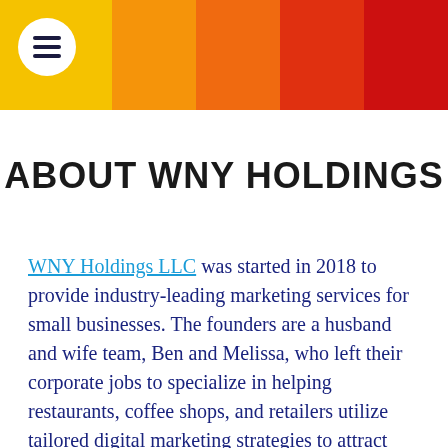[Figure (other): Header banner with five vertical colored columns (yellow, orange, dark orange, red-orange, dark red) and a white circular menu icon with three horizontal lines in the top-left yellow column.]
ABOUT WNY HOLDINGS
WNY Holdings LLC was started in 2018 to provide industry-leading marketing services for small businesses. The founders are a husband and wife team, Ben and Melissa, who left their corporate jobs to specialize in helping restaurants, coffee shops, and retailers utilize tailored digital marketing strategies to attract visitors and turn them into loyal